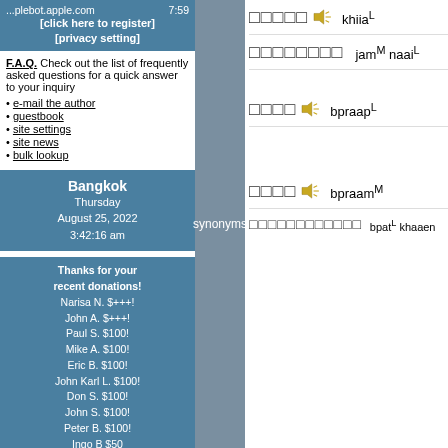...plebot.apple.com   7:59
[click here to register]
[privacy setting]
F.A.Q. Check out the list of frequently asked questions for a quick answer to your inquiry
e-mail the author
guestbook
site settings
site news
bulk lookup
Bangkok
Thursday
August 25, 2022
3:42:16 am
Thanks for your recent donations!
Narisa N. $+++!
John A. $+++!
Paul S. $100!
Mike A. $100!
Eric B. $100!
John Karl L. $100!
Don S. $100!
John S. $100!
Peter B. $100!
Ingo B $50
Peter d C $50
Hans G $50
Alan M. $50
synonyms
khiia^L
jam^M naai^L
bpraap^L
bpraam^M
bpat^L khaaen